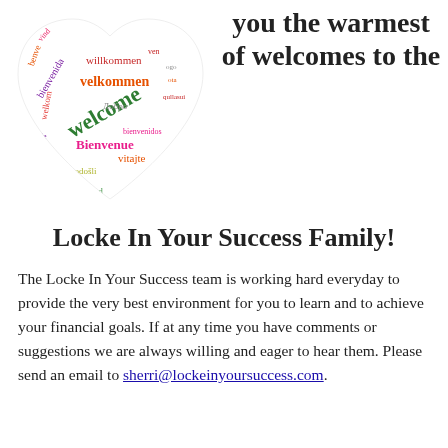[Figure (illustration): Heart shape made of multilingual 'welcome' words in various colors (red, pink, orange, yellow, purple, green) including 'welcome', 'willkommen', 'velkommen', 'Bienvenue', 'vitajte', 'dobrodošli', 'bienvenida', 'Добро', and others.]
you the warmest of welcomes to the Locke In Your Success Family!
The Locke In Your Success team is working hard everyday to provide the very best environment for you to learn and to achieve your financial goals. If at any time you have comments or suggestions we are always willing and eager to hear them. Please send an email to sherri@lockeinyoursuccess.com.